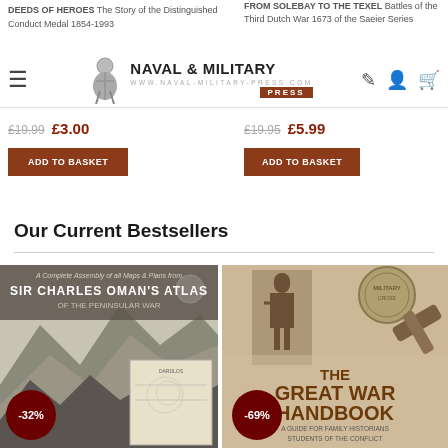[Figure (screenshot): Naval & Military Press website header with logo, hamburger menu, and icons]
DEEDS OF HEROES The Story of the Distinguished Conduct Medal 1854-1993
£19.99  £3.00
ADD TO BASKET
FROM SOLEBAY TO THE TEXEL Battles of the Third Dutch War 1672-1673 of the Saeier Series
£19.95  £5.99
ADD TO BASKET
Our Current Bestsellers
[Figure (photo): Book cover: Sir Charles Oman's Atlas of the Peninsular War - A Complete Assembly of all Maps & Plans, showing maps and mountain imagery with -32% discount badge]
[Figure (photo): Book cover: The Great War Handbook - A Guide for Family Historians Students of the Conflict, showing soldier figurine, medal, and bullet with -69% discount badge]